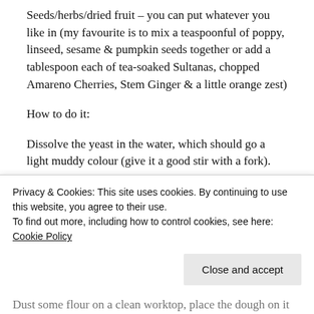Seeds/herbs/dried fruit – you can put whatever you like in (my favourite is to mix a teaspoonful of poppy, linseed, sesame & pumpkin seeds together or add a tablespoon each of tea-soaked Sultanas, chopped Amareno Cherries, Stem Ginger & a little orange zest)
How to do it:
Dissolve the yeast in the water, which should go a light muddy colour (give it a good stir with a fork).
Put the flour & sea salt in a large mixing bowl, slowly pour
Privacy & Cookies: This site uses cookies. By continuing to use this website, you agree to their use.
To find out more, including how to control cookies, see here: Cookie Policy
Dust some flour on a clean worktop, place the dough on it